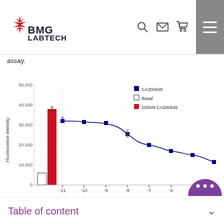BMG LABTECH
assay.
[Figure (continuous-plot): A combination bar and dose-response curve chart. Left side shows two bars: white/basal bar (~6000) and red/100nM CA200645 bar (~38000). Right side shows a sigmoidal dose-response curve with blue square markers (CA200645) showing fluorescence intensity decreasing from ~32000 at -11 log M to ~11000 at -4 log M. Y-axis: 0 to 50,000. X-axis for curve: -11 to -4. Legend: blue square=CA200645, white square=Basal, red square=100nM CA200645.]
Table of content